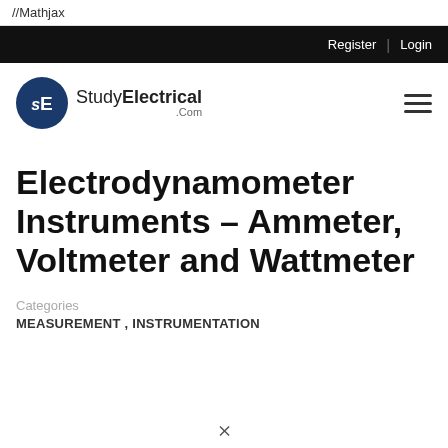//Mathjax
Register | Login
[Figure (logo): StudyElectrical.com logo with blue circular icon containing 'sE' letters]
Electrodynamometer Instruments – Ammeter, Voltmeter and Wattmeter
Categories
MEASUREMENT, INSTRUMENTATION